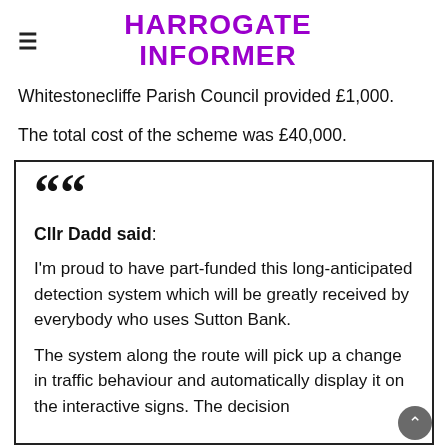HARROGATE INFORMER
Whitestonecliffe Parish Council provided £1,000.
The total cost of the scheme was £40,000.
Cllr Dadd said: I'm proud to have part-funded this long-anticipated detection system which will be greatly received by everybody who uses Sutton Bank. The system along the route will pick up a change in traffic behaviour and automatically display it on the interactive signs. The decision